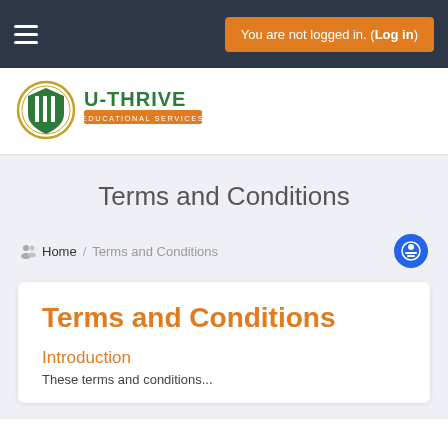You are not logged in. (Log in)
[Figure (logo): U-Thrive Educational Services logo — circular crest with green shield and three bars, orange and green wordmark]
Terms and Conditions
Home / Terms and Conditions
Terms and Conditions
Introduction
These terms and conditions...